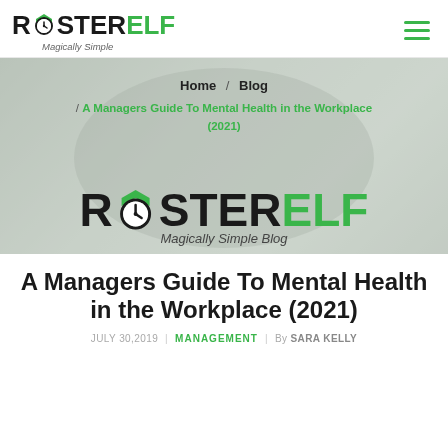[Figure (logo): RosterELF logo with clock icon and 'Magically Simple' tagline in header]
[Figure (illustration): Hamburger menu icon (three green lines) in top right of header]
[Figure (screenshot): Hero banner area with blurred background and breadcrumb navigation and RosterELF blog logo overlay]
Home / Blog
/ A Managers Guide To Mental Health in the Workplace (2021)
[Figure (logo): RosterELF Magically Simple Blog logo centered in hero area]
A Managers Guide To Mental Health in the Workplace (2021)
JULY 30,2019 | MANAGEMENT | By SARA KELLY